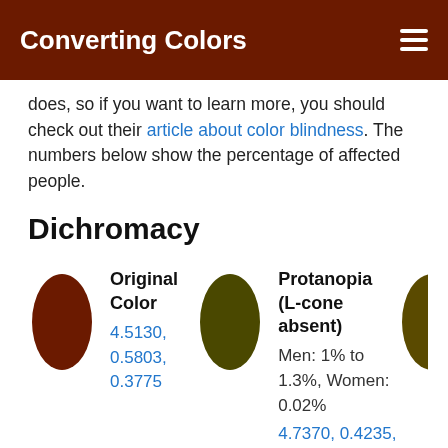Converting Colors
does, so if you want to learn more, you should check out their article about color blindness. The numbers below show the percentage of affected people.
Dichromacy
[Figure (illustration): Two color swatches shown as ovals: Original Color (dark brown/red oval) with values 4.5130, 0.5803, 0.3775, and Protanopia (L-cone absent) (olive/dark yellow-green oval) with Men: 1% to 1.3%, Women: 0.02% and values 4.7370, 0.4235, 0.4728. A third partially visible oval appears at the right edge.]